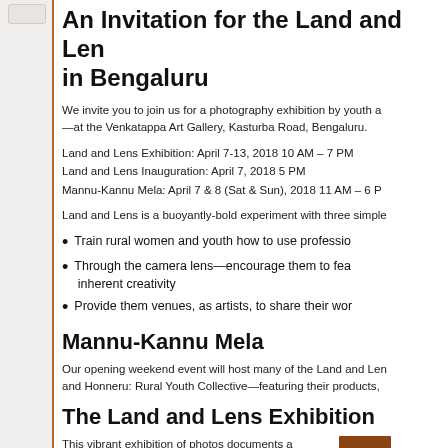An Invitation for the Land and Lens in Bengaluru
We invite you to join us for a photography exhibition by youth a—at the Venkatappa Art Gallery, Kasturba Road, Bengaluru.
Land and Lens Exhibition: April 7-13, 2018 10 AM – 7 PM
Land and Lens Inauguration: April 7, 2018 5 PM
Mannu-Kannu Mela: April 7 & 8 (Sat & Sun), 2018 11 AM – 6 PM
Land and Lens is a buoyantly-bold experiment with three simple
Train rural women and youth how to use professio
Through the camera lens—encourage them to fea inherent creativity
Provide them venues, as artists, to share their wor
Mannu-Kannu Mela
Our opening weekend event will host many of the Land and Lens and Honneru: Rural Youth Collective—featuring their products,
The Land and Lens Exhibition
This vibrant exhibition of photos documents a buoyantly-bold process. Rural and youth participants,
[Figure (photo): A photo thumbnail showing a person, partially visible in the bottom-right corner of the page.]